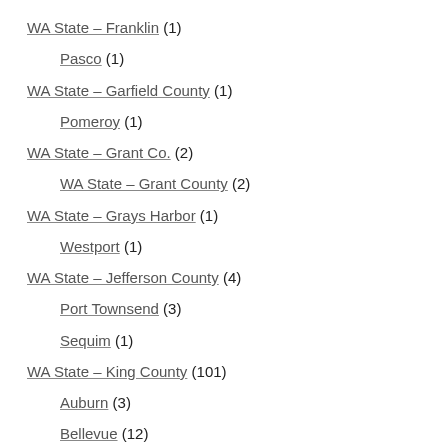WA State – Franklin (1)
Pasco (1)
WA State – Garfield County (1)
Pomeroy (1)
WA State – Grant Co. (2)
WA State – Grant County (2)
WA State – Grays Harbor (1)
Westport (1)
WA State – Jefferson County (4)
Port Townsend (3)
Sequim (1)
WA State – King County (101)
Auburn (3)
Bellevue (12)
Black Diamond (1)
Bothell (1)
Burien (2)
Covington (2)
Des Moines (6)